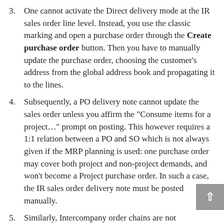3. One cannot activate the Direct delivery mode at the IR sales order line level. Instead, you use the classic marking and open a purchase order through the Create purchase order button. Then you have to manually update the purchase order, choosing the customer's address from the global address book and propagating it to the lines.
4. Subsequently, a PO delivery note cannot update the sales order unless you affirm the "Consume items for a project..." prompt on posting. This however requires a 1:1 relation between a PO and SO which is not always given if the MRP planning is used: one purchase order may cover both project and non-project demands, and won't become a Project purchase order. In such a case, the IR sales order delivery note must be posted manually.
5. Similarly, Intercompany order chains are not